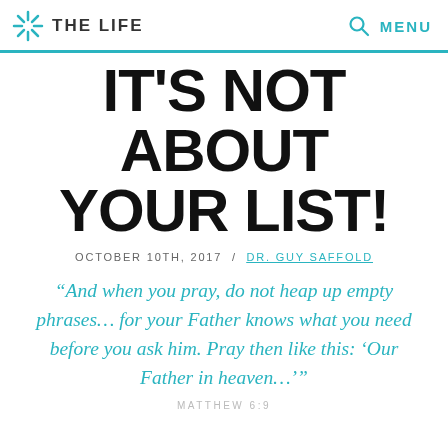THE LIFE  MENU
IT'S NOT ABOUT YOUR LIST!
OCTOBER 10TH, 2017 / DR. GUY SAFFOLD
“And when you pray, do not heap up empty phrases… for your Father knows what you need before you ask him. Pray then like this: ‘Our Father in heaven…’”
MATTHEW 6:9